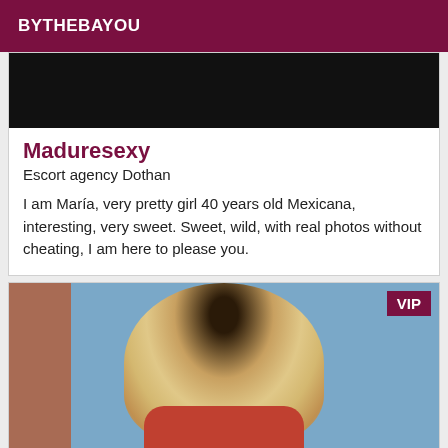BYTHEBAYOU
[Figure (photo): Dark/black image at top of listing card]
Maduresexy
Escort agency Dothan
I am María, very pretty girl 40 years old Mexicana, interesting, very sweet. Sweet, wild, with real photos without cheating, I am here to please you.
[Figure (photo): Photo of a blonde woman from behind wearing a red top, standing against a blue background with a wooden panel on the left. VIP badge in top-right corner.]